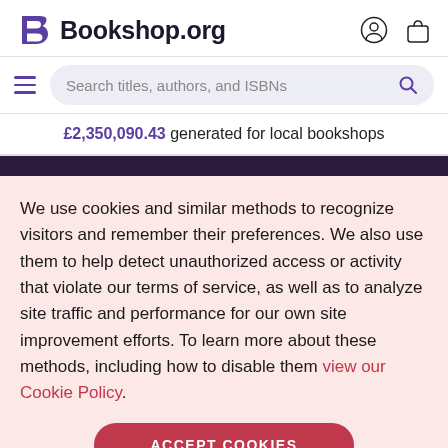Bookshop.org
Search titles, authors, and ISBNs
£2,350,090.43 generated for local bookshops
We use cookies and similar methods to recognize visitors and remember their preferences. We also use them to help detect unauthorized access or activity that violate our terms of service, as well as to analyze site traffic and performance for our own site improvement efforts. To learn more about these methods, including how to disable them view our Cookie Policy.
ACCEPT COOKIES